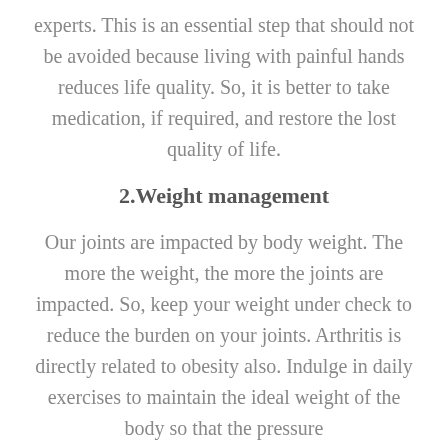experts. This is an essential step that should not be avoided because living with painful hands reduces life quality. So, it is better to take medication, if required, and restore the lost quality of life.
2.Weight management
Our joints are impacted by body weight. The more the weight, the more the joints are impacted. So, keep your weight under check to reduce the burden on your joints. Arthritis is directly related to obesity also. Indulge in daily exercises to maintain the ideal weight of the body so that the pressure